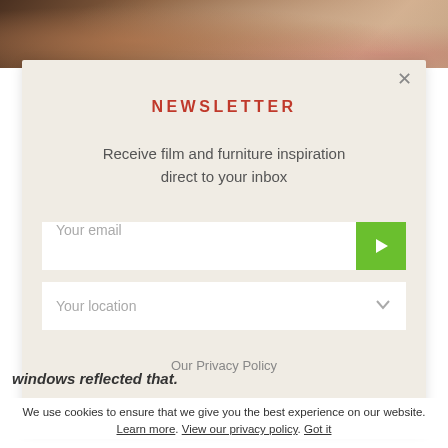[Figure (photo): Partial top strip of a photo showing a dining table scene with food and flowers]
NEWSLETTER
Receive film and furniture inspiration direct to your inbox
Your email
Your location
Our Privacy Policy
windows reflected that.
We use cookies to ensure that we give you the best experience on our website. Learn more. View our privacy policy. Got it